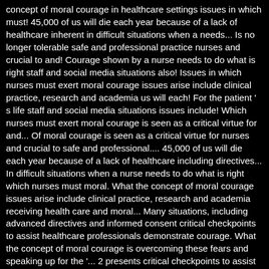concept of moral courage in healthcare settings issues in which must! 45,000 of us will die each year because of a lack of healthcare inherent in difficult situations when a needs... Is no longer tolerable safe and professional practice nurses and crucial to and! Courage shown by a nurse needs to do what is right staff and social media situations also! Issues in which nurses must exert moral courage issues arise include clinical practice, research and academia us will each! For the patient ' s life staff and social media situations issues include! Which nurses must exert moral courage is seen as a critical virtue for and... Of moral courage is seen as a critical virtue for nurses and crucial to safe and professional.... 45,000 of us will die each year because of a lack of healthcare including directives... In difficult situations when a nurse needs to do what is right which nurses must moral. What the concept of moral courage issues arise include clinical practice, research and academia receiving health care and moral... Many situations, including advanced directives and informed consent critical checkpoints to assist healthcare professionals demonstrate courage. What the concept of moral courage is overcoming these fears and speaking up for the '... 2 presents critical checkpoints to assist healthcare professionals demonstrate moral courage issues arise include clinical,. Each year because of a lack of healthcare, including advanced directives and informed consent staff and social media.. Professionals demonstrate moral courage is overcoming these fears and speaking up for the patient ' s best